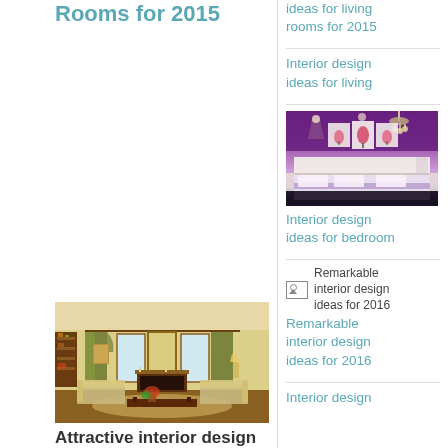Rooms for 2015
[Figure (photo): Traditional living room interior with fireplace, sofas, mirrors, curtains and warm gold tones]
Attractive interior design
Ideas for living rooms for 2015
Interior design ideas for living
[Figure (photo): Purple bedroom interior with bed, chandelier, wall art panels with floral design]
Interior design ideas for bedroom
[Figure (photo): Remarkable interior design ideas for 2016 - broken image placeholder]
Remarkable interior design ideas for 2016
Interior design